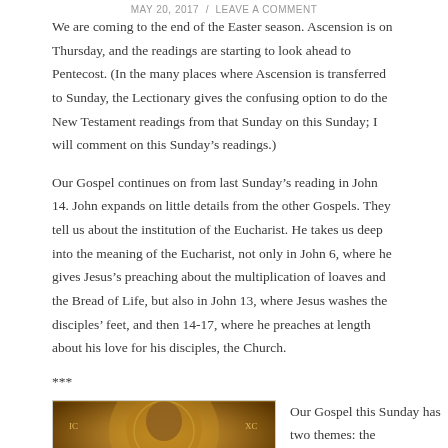MAY 20, 2017  /  LEAVE A COMMENT
We are coming to the end of the Easter season.  Ascension is on Thursday, and the readings are starting to look ahead to Pentecost.  (In the many places where Ascension is transferred to Sunday, the Lectionary gives the confusing option to do the New Testament readings from that Sunday on this Sunday; I will comment on this Sunday’s readings.)
Our Gospel continues on from last Sunday’s reading in John 14.  John expands on little details from the other Gospels.  They tell us about the institution of the Eucharist.  He takes us deep into the meaning of the Eucharist, not only in John 6, where he gives Jesus’s preaching about the multiplication of loaves and the Bread of Life, but also in John 13, where Jesus washes the disciples’ feet, and then 14-17, where he preaches at length about his love for his disciples, the Church.
***
[Figure (illustration): Byzantine or medieval style religious icon painting with golden/amber tones showing a figure, partially visible at bottom of page]
Our Gospel this Sunday has two themes: the